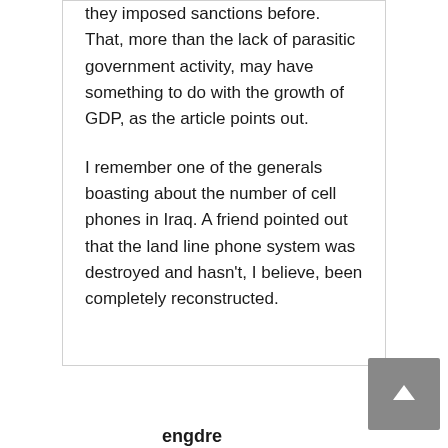they imposed sanctions before. That, more than the lack of parasitic government activity, may have something to do with the growth of GDP, as the article points out.

I remember one of the generals boasting about the number of cell phones in Iraq. A friend pointed out that the land line phone system was destroyed and hasn't, I believe, been completely reconstructed.
engdre
December 18, 2006 at 5:44 pm